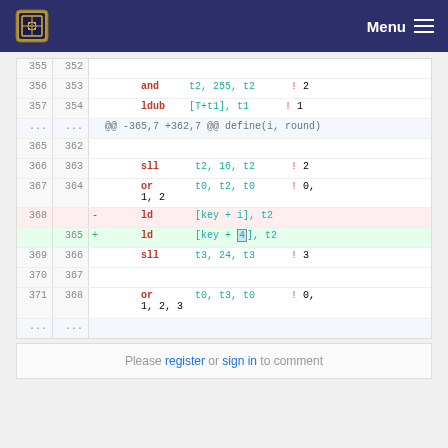Menu
| old | new | sign | code |
| --- | --- | --- | --- |
| 355 | 352 |  |  |
| 356 | 353 |  | and    t2, 255, t2    ! 2 |
| 357 | 354 |  | ldub   [T+t1], t1    ! 1 |
| ... | ... |  | @@ -365,7 +362,7 @@ define(i, round) |
| 365 | 362 |  |  |
| 366 | 363 |  | sll    t2, 16, t2    ! 2 |
| 367 | 364 |  | or     t0, t2, t0    ! 0, 1, 2 |
| 368 |  | - | ld     [key + i], t2 |
|  | 365 | + | ld     [key + 4], t2 |
| 369 | 366 |  | sll    t3, 24, t3    ! 3 |
| 370 | 367 |  |  |
| 371 | 368 |  | or     t0, t3, t0    ! 0, 1, 2, 3 |
| ... | ... |  |  |
Please register or sign in to comment